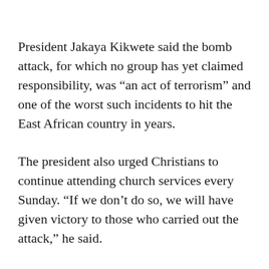President Jakaya Kikwete said the bomb attack, for which no group has yet claimed responsibility, was “an act of terrorism” and one of the worst such incidents to hit the East African country in years.
The president also urged Christians to continue attending church services every Sunday. “If we don’t do so, we will have given victory to those who carried out the attack,” he said.
President Kikwete also ensured the government “will provide security around all places of worship”